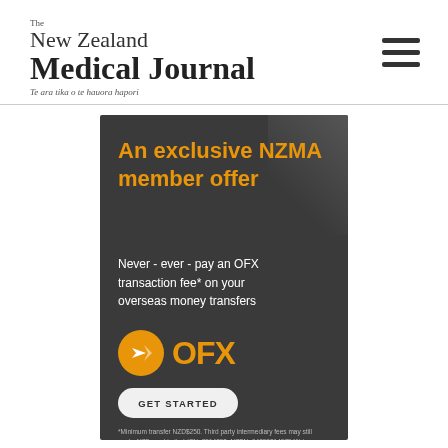The New Zealand Medical Journal — Te ara tika o te hauora hapori
[Figure (infographic): OFX advertisement on dark background. Headline: 'An exclusive NZMA member offer'. Body: 'Never - ever - pay an OFX transaction fee* on your overseas money transfers'. OFX logo with orange circle icon and OFX wordmark. GET STARTED button. Fine print about minimum transfer NZD$250, NZForex Limited details.]
*Minimum transfer NZD$250. Third party intermediary fees may still apply. NZForex Limited (CN: 2514293; NZBN: 9429031497541) is registered as a financial transfer provider. ...the Financial Service Provider...